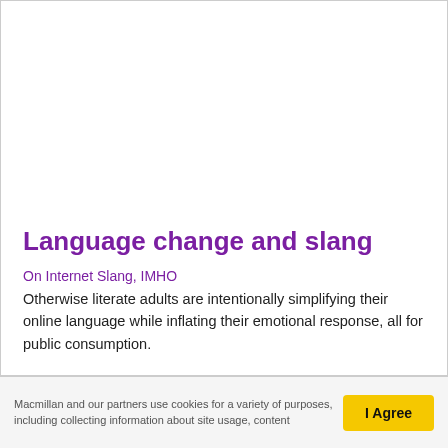Language change and slang
On Internet Slang, IMHO
Otherwise literate adults are intentionally simplifying their online language while inflating their emotional response, all for public consumption.
Macmillan and our partners use cookies for a variety of purposes, including collecting information about site usage, content
I Agree